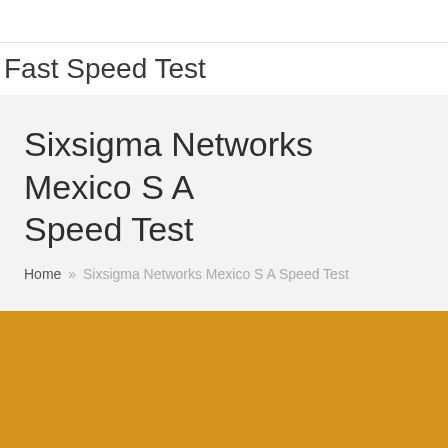Fast Speed Test
Sixsigma Networks Mexico S A Speed Test
Home » Sixsigma Networks Mexico S A Speed Test
[Figure (other): Solid amber/golden-orange color block filling the lower portion of the page]